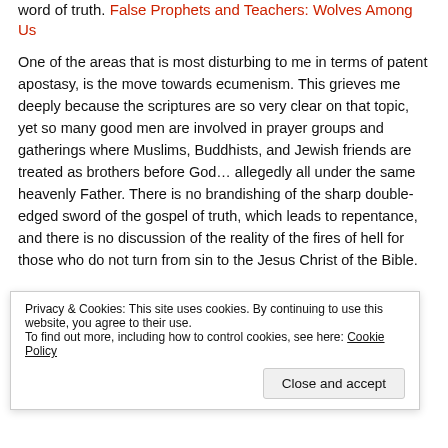word of truth. False Prophets and Teachers: Wolves Among Us
One of the areas that is most disturbing to me in terms of patent apostasy, is the move towards ecumenism. This grieves me deeply because the scriptures are so very clear on that topic, yet so many good men are involved in prayer groups and gatherings where Muslims, Buddhists, and Jewish friends are treated as brothers before God... allegedly all under the same heavenly Father. There is no brandishing of the sharp double-edged sword of the gospel of truth, which leads to repentance, and there is no discussion of the reality of the fires of hell for those who do not turn from sin to the Jesus Christ of the Bible.
Privacy & Cookies: This site uses cookies. By continuing to use this website, you agree to their use. To find out more, including how to control cookies, see here: Cookie Policy